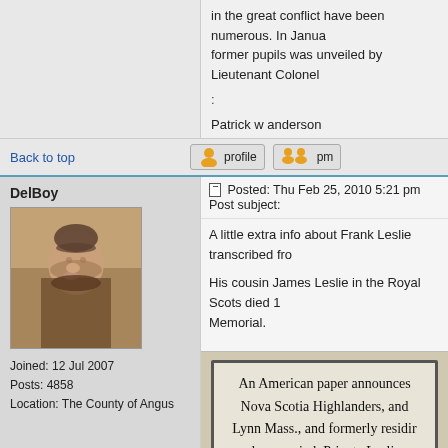in the great conflict have been numerous. In January former pupils was unveiled by Lieutenant Colonel
:
Patrick w anderson
Back to top
DelBoy
Posted: Thu Feb 25, 2010 5:21 pm    Post subject:
[Figure (photo): Profile photo of forum user DelBoy - a vintage sepia photo of a young boy wearing a beret]
Joined: 12 Jul 2007
Posts: 4858
Location: The County of Angus
A little extra info about Frank Leslie transcribed fro
His cousin James Leslie in the Royal Scots died 1 Memorial.
[Figure (photo): Photo of a document/memorial plaque text reading: An American paper announces Nova Scotia Highlanders, and Lynn Mass., and formerly residi and unmarried. Private Leslie w Arbroath about eight years a The...]